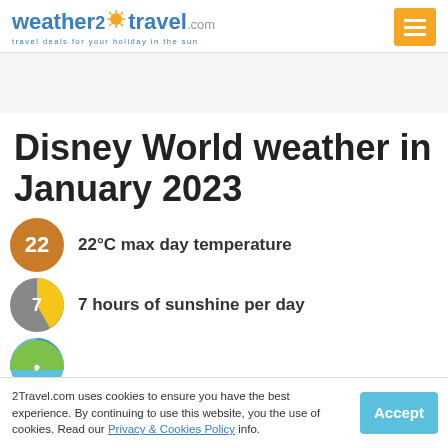weather2travel.com — travel deals for your holiday in the sun
Disney World weather in January 2023
22°C max day temperature
7 hours of sunshine per day
7 (rain days indicator)
2Travel.com uses cookies to ensure you have the best experience. By continuing to use this website, you the use of cookies. Read our Privacy & Cookies Policy info.